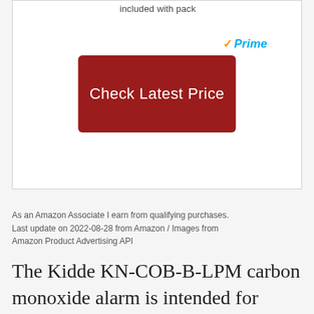included with pack
[Figure (logo): Amazon Prime logo with orange checkmark and blue italic 'Prime' text]
[Figure (screenshot): Dark red 'Check Latest Price' button]
As an Amazon Associate I earn from qualifying purchases. Last update on 2022-08-28 from Amazon / Images from Amazon Product Advertising API
The Kidde KN-COB-B-LPM carbon monoxide alarm is intended for continuous monitoring of CO. The detector requires two AA batteries, which are included, to run. If